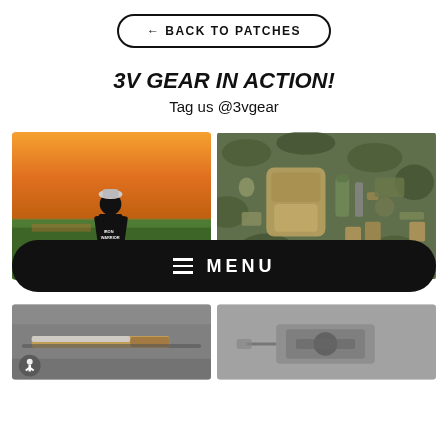← BACK TO PATCHES
3V GEAR IN ACTION!
Tag us @3vgear
[Figure (photo): Person standing with back to camera wearing a black t-shirt at sunset over marshland]
[Figure (photo): Overhead flat-lay of tactical gear, backpack, tools, and equipment on camouflage background]
≡ MENU
[Figure (photo): Close-up of a knife or blade on a dark surface]
[Figure (photo): Close-up of tactical equipment or firearm component]